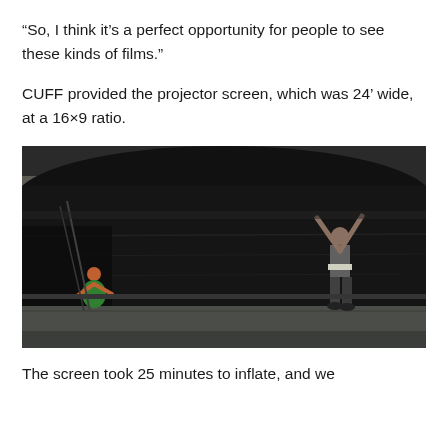“So, I think it’s a perfect opportunity for people to see these kinds of films.”
CUFF provided the projector screen, which was 24’ wide, at a 16×9 ratio.
[Figure (photo): A large inflatable black projector screen being set up outdoors. A person on the right has arms raised pushing up the screen. Another person sits on the ground to the left. The screen is massive and dark-colored, partially inflated, with tarps/mats on the ground.]
The screen took 25 minutes to inflate, and we